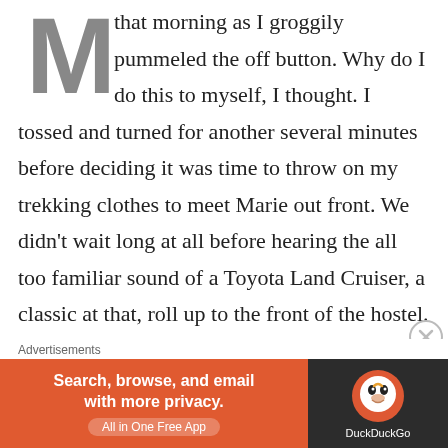that morning as I groggily pummeled the off button. Why do I do this to myself, I thought. I tossed and turned for another several minutes before deciding it was time to throw on my trekking clothes to meet Marie out front. We didn't wait long at all before hearing the all too familiar sound of a Toyota Land Cruiser, a classic at that, roll up to the front of the hostel.
She was red in color, two doors in nature, and a whole lot of sex appeal. It clunked along in its stride, was super
[Figure (other): Advertisement banner for DuckDuckGo app: orange background on left with text 'Search, browse, and email with more privacy. All in One Free App', dark background on right with DuckDuckGo owl logo]